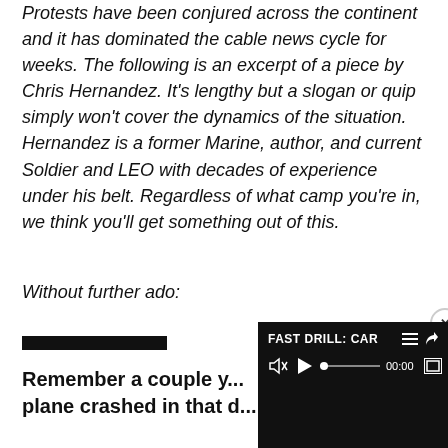Protests have been conjured across the continent and it has dominated the cable news cycle for weeks. The following is an excerpt of a piece by Chris Hernandez. It's lengthy but a slogan or quip simply won't cover the dynamics of the situation. Hernandez is a former Marine, author, and current Soldier and LEO with decades of experience under his belt. Regardless of what camp you're in, we think you'll get something out of this.
Without further ado:
Remember a couple y... plane crashed in that ...
[Figure (screenshot): Video player overlay with dark background showing 'FAST DRILL: CAR...' title, mute icon, play button, seek bar at 00:00, and fullscreen button. A close (x) button appears in the top-right corner.]